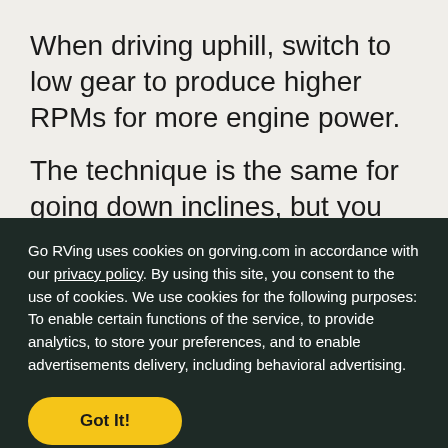When driving uphill, switch to low gear to produce higher RPMs for more engine power.
The technique is the same for going down inclines, but you can also use the engine
Go RVing uses cookies on gorving.com in accordance with our privacy policy. By using this site, you consent to the use of cookies. We use cookies for the following purposes: To enable certain functions of the service, to provide analytics, to store your preferences, and to enable advertisements delivery, including behavioral advertising.
Got It!